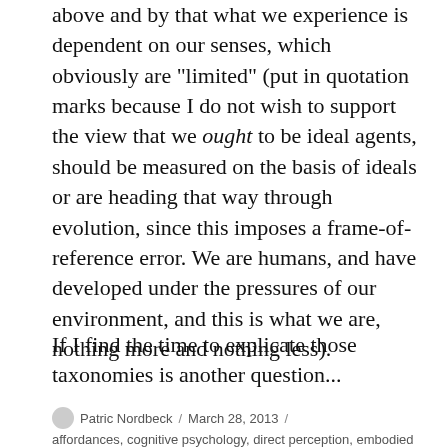above and by that what we experience is dependent on our senses, which obviously are "limited" (put in quotation marks because I do not wish to support the view that we ought to be ideal agents, should be measured on the basis of ideals or are heading that way through evolution, since this imposes a frame-of-reference error. We are humans, and have developed under the pressures of our environment, and this is what we are, nothing more and nothing less).
If I find the time to explicate those taxonomies is another question...
Patric Nordbeck / March 28, 2013 / affordances, cognitive psychology, direct perception, embodied